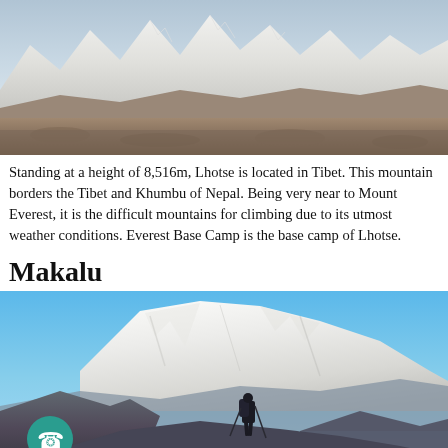[Figure (photo): Lhotse mountain landscape with snow-capped peaks and rocky terrain in foreground, viewed from valley]
Standing at a height of 8,516m, Lhotse is located in Tibet. This mountain borders the Tibet and Khumbu of Nepal. Being very near to Mount Everest, it is the difficult mountains for climbing due to its utmost weather conditions. Everest Base Camp is the base camp of Lhotse.
Makalu
[Figure (photo): Makalu mountain with massive snow-covered face under blue sky, with a hiker/trekker silhouette in foreground on rocky ridge. A phone/call button icon is overlaid at bottom left.]